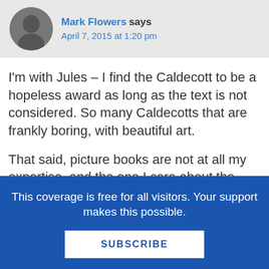Mark Flowers says
April 7, 2015 at 1:20 pm
I'm with Jules – I find the Caldecott to be a hopeless award as long as the text is not considered. So many Caldecotts that are frankly boring, with beautiful art.
That said, picture books are not at all my expertise, and the one I care about the most would require a whole raft of changes: basically I want the Newbery and the Printz to be the same award, for two different age levels. This means: 1) changing the age cut-off for one of
This coverage is free for all visitors. Your support makes this possible.
SUBSCRIBE